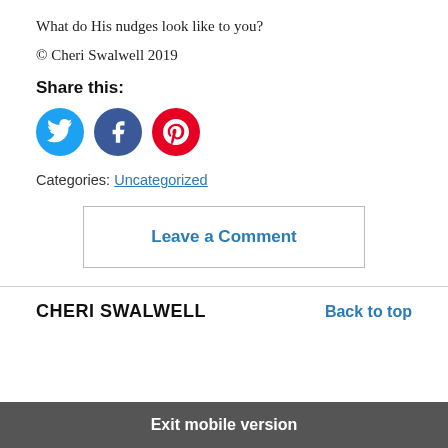What do His nudges look like to you?
© Cheri Swalwell 2019
Share this:
[Figure (other): Social media share icons: Twitter (blue circle), Facebook (blue circle), Pinterest (red circle)]
Categories: Uncategorized
Leave a Comment
CHERI SWALWELL   Back to top
Exit mobile version